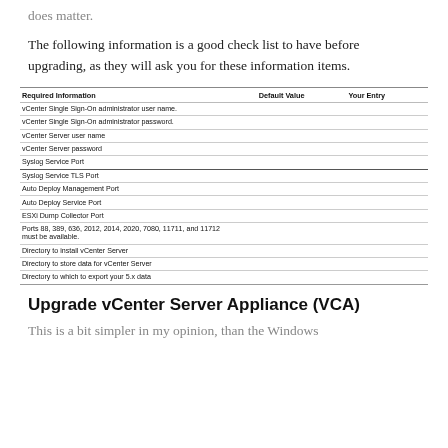does matter.
The following information is a good check list to have before upgrading, as they will ask you for these information items.
| Required Information | Default Value | Your Entry |
| --- | --- | --- |
| vCenter Single Sign-On administrator user name. |  |  |
| vCenter Single Sign-On administrator password. |  |  |
| vCenter Server user name |  |  |
| vCenter Server password |  |  |
| Syslog Service Port |  |  |
| Syslog Service TLS Port |  |  |
| Auto Deploy Management Port |  |  |
| Auto Deploy Service Port |  |  |
| ESXi Dump Collector Port |  |  |
| Ports 88, 389, 636, 2012, 2014, 2020, 7080, 11711, and 11712 must be available. |  |  |
| Directory to install vCenter Server |  |  |
| Directory to store data for vCenter Server |  |  |
| Directory to which to export your 5.x data |  |  |
Upgrade vCenter Server Appliance (VCA)
This is a bit simpler in my opinion, than the Windows